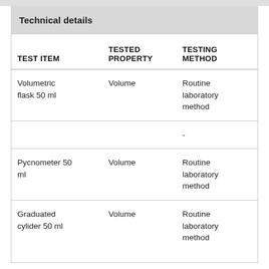Technical details
| TEST ITEM | TESTED PROPERTY | TESTING METHOD |
| --- | --- | --- |
| Volumetric flask 50 ml | Volume | Routine laboratory method |
|  |  | - |
| Pycnometer 50 ml | Volume | Routine laboratory method |
| Graduated cylider 50 ml | Volume | Routine laboratory method |